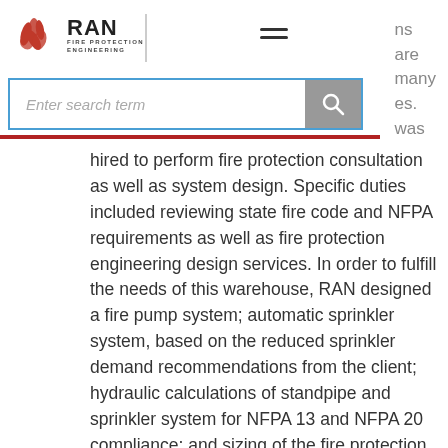[Figure (logo): RAN Fire Protection Engineering logo with stylized flame figure and company name]
ns are many es. was
Enter search term
hired to perform fire protection consultation as well as system design. Specific duties included reviewing state fire code and NFPA requirements as well as fire protection engineering design services. In order to fulfill the needs of this warehouse, RAN designed a fire pump system; automatic sprinkler system, based on the reduced sprinkler demand recommendations from the client; hydraulic calculations of standpipe and sprinkler system for NFPA 13 and NFPA 20 compliance; and sizing of the fire protection water supply, as applicable. These systems were